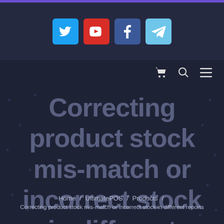[Figure (screenshot): Social media icon bar with Twitter (blue), YouTube (red), Facebook (blue), and Telegram (light blue) icons]
Cart | Search | Menu navigation icons
Correcting product stock mis-match or incorrect stock in different reports
Home / UltimatePOS / Products / Correcting product stock mis-match or incorrect stock in different reports